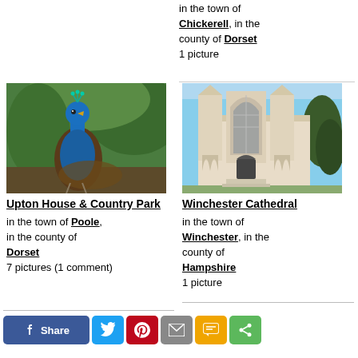in the town of Chickerell, in the county of Dorset
1 picture
[Figure (photo): A peacock with bright blue plumage standing in front of green foliage — representing Upton House & Country Park]
Upton House & Country Park
in the town of Poole, in the county of Dorset
7 pictures (1 comment)
[Figure (photo): Winchester Cathedral exterior showing Gothic architecture with tall spire and ornate facade under a blue sky]
Winchester Cathedral
in the town of Winchester, in the county of Hampshire
1 picture
[Figure (infographic): Social sharing bar with Facebook Share, Twitter, Pinterest, Email, SMS, and more share buttons]